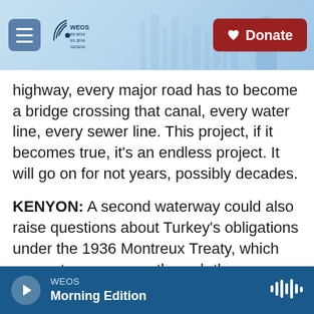WEOS 89.9FM / 90.3FM Geneva — Donate
highway, every major road has to become a bridge crossing that canal, every water line, every sewer line. This project, if it becomes true, it's an endless project. It will go on for not years, possibly decades.
KENYON: A second waterway could also raise questions about Turkey's obligations under the 1936 Montreux Treaty, which guarantees passage through the Bosporus Strait for other countries' vessels. Isik says Russia in particular won't stand for any changes to those rules. Erdogan, who's expected to stand for reelection in 2023, if not sooner, says he'd like to see tenders for the canal
WEOS — Morning Edition